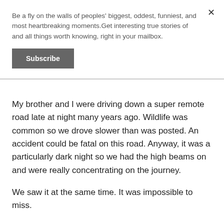Be a fly on the walls of peoples' biggest, oddest, funniest, and most heartbreaking moments.Get interesting true stories of and all things worth knowing, right in your mailbox.
Subscribe
My brother and I were driving down a super remote road late at night many years ago. Wildlife was common so we drove slower than was posted. An accident could be fatal on this road. Anyway, it was a particularly dark night so we had the high beams on and were really concentrating on the journey.
We saw it at the same time. It was impossible to miss.